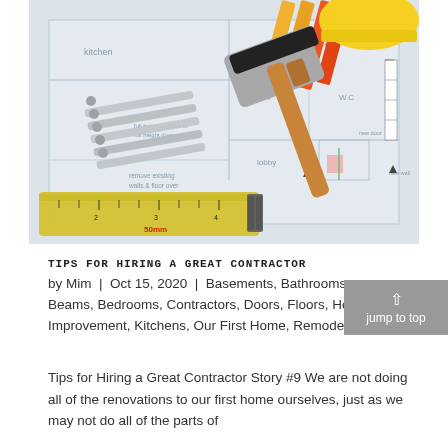[Figure (photo): Construction tools (hammer, tape measure, nails, pencils, hard hat) laid on top of architectural floor plan blueprints]
TIPS FOR HIRING A GREAT CONTRACTOR
by Mim  |  Oct 15, 2020  |  Basements, Bathrooms, Beams, Bedrooms, Contractors, Doors, Floors, Home Improvement, Kitchens, Our First Home, Remodel
Tips for Hiring a Great Contractor Story #9 We are not doing all of the renovations to our first home ourselves, just as we may not do all of the parts of